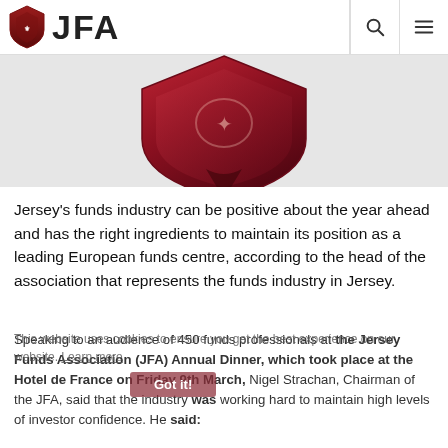JFA
[Figure (logo): JFA (Jersey Funds Association) logo with dark red shield icon and large bold 'JFA' text, plus search and hamburger menu icons on the right]
[Figure (illustration): Large dark red/maroon shield logo centered on a light grey background, partially cropped]
Jersey's funds industry can be positive about the year ahead and has the right ingredients to maintain its position as a leading European funds centre, according to the head of the association that represents the funds industry in Jersey.
Speaking to an audience of 450 funds professionals at the Jersey Funds Association (JFA) Annual Dinner, which took place at the Hotel de France on Friday 9th March, Nigel Strachan, Chairman of the JFA, said that the industry was working hard to maintain high levels of investor confidence. He said: